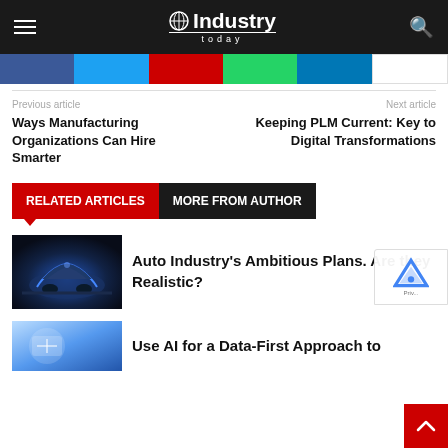Industry Today
[Figure (other): Social sharing buttons bar: Facebook (blue), Twitter (light blue), YouTube (red), WhatsApp (green), LinkedIn (blue), Email (white)]
Previous article
Ways Manufacturing Organizations Can Hire Smarter
Next article
Keeping PLM Current: Key to Digital Transformations
RELATED ARTICLES    MORE FROM AUTHOR
Auto Industry's Ambitious Plans. Are they Realistic?
Use AI for a Data-First Approach to